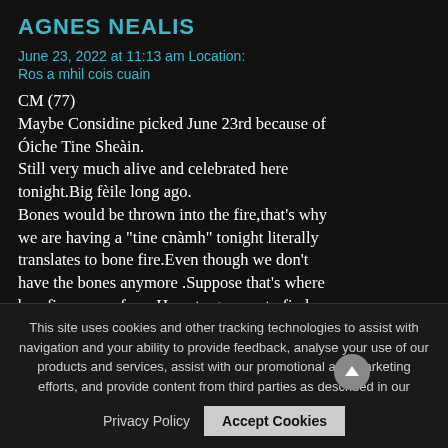AGNES NEALIS   June 23, 2022 at 11:13 am Location: Ros a mhil cois cuain
CM (77)
Maybe Considine picked June 23rd because of Óiche Tine Sheàin.
Still very much alive and celebrated here tonight.Big fèile long ago.
Bones would be thrown into the fire,that's why we are having a "tine cnàmh" tonight literally translates to bone fire.Even though we don't have the bones anymore .Suppose that's where bon fire comes from.Have to go now to find a box of matches . Slàn go fóil
CS
This site uses cookies and other tracking technologies to assist with navigation and your ability to provide feedback, analyse your use of our products and services, assist with our promotional and marketing efforts, and provide content from third parties as described in our
Privacy Policy   Accept Cookies